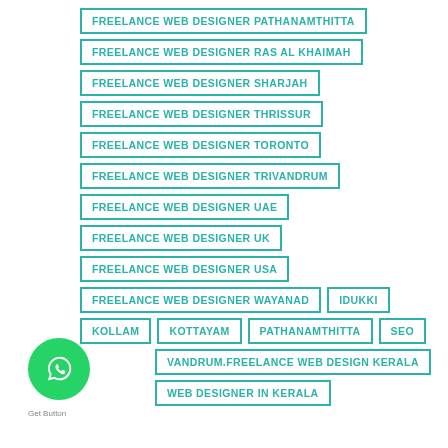FREELANCE WEB DESIGNER PATHANAMTHITTA
FREELANCE WEB DESIGNER RAS AL KHAIMAH
FREELANCE WEB DESIGNER SHARJAH
FREELANCE WEB DESIGNER THRISSUR
FREELANCE WEB DESIGNER TORONTO
FREELANCE WEB DESIGNER TRIVANDRUM
FREELANCE WEB DESIGNER UAE
FREELANCE WEB DESIGNER UK
FREELANCE WEB DESIGNER USA
FREELANCE WEB DESIGNER WAYANAD
IDUKKI
KOLLAM
KOTTAYAM
PATHANAMTHITTA
SEO
VANDRUM.FREELANCE WEB DESIGN KERALA
WEB DESIGNER IN KERALA